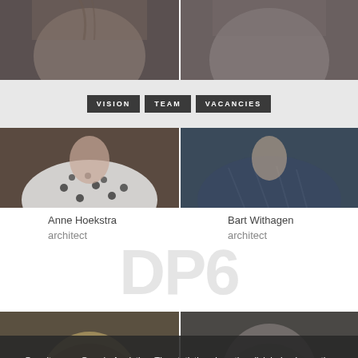[Figure (photo): Two portrait photos side by side, top portion showing heads/hair of two people, dark background]
[Figure (infographic): Navigation bar with three buttons: VISION, TEAM, VACANCIES on light grey background]
[Figure (photo): Two portrait photos side by side, showing necks/shoulders — left person in white polka dot top, right person in dark blue patterned shirt]
Anne Hoekstra
architect
Bart Withagen
architect
[Figure (logo): DP6 watermark text in large light grey letters]
[Figure (photo): Two portrait photos side by side at bottom — left person blonde woman laughing, right person older man, dark overlay with cookie notice]
Our site uses Google Analytics. The statistics show the click behavior on the website. This will be used to optimize the information that can be seen on the site.
AGREED